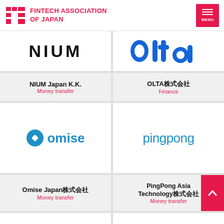FINTECH ASSOCIATION OF JAPAN
[Figure (logo): NIUM logo — bold black uppercase text on white background]
[Figure (logo): OLTA logo — blue rounded lettering on white background]
NIUM Japan K.K.
Money transfer
OLTA株式会社
Finance
[Figure (logo): omise logo — blue diamond icon with blue lowercase text]
[Figure (logo): pingpong logo — blue rounded lowercase text]
Omise Japan株式会社
Money transfer
PingPong Asia Technology株式会社
Money transfer